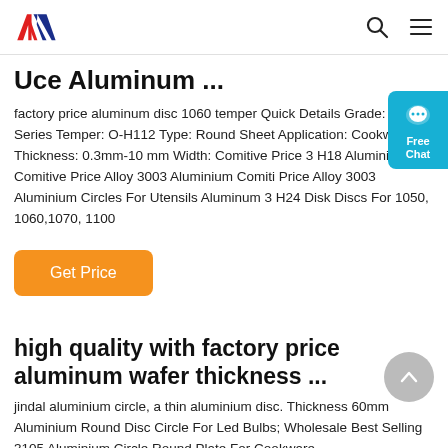[Logo: AIM/ANN] [Search icon] [Menu icon]
Uce Aluminum ...
factory price aluminum disc 1060 temper Quick Details Grade: 1000 Series Temper: O-H112 Type: Round Sheet Application: Cookware Thickness: 0.3mm-10 mm Width: Comitive Price 3 H18 Aluminium Comitive Price Alloy 3003 Aluminium Comiti Price Alloy 3003 Aluminium Circles For Utensils Aluminum 3 H24 Disk Discs For 1050, 1060,1070, 1100
Get Price
high quality with factory price aluminum wafer thickness ...
jindal aluminium circle, a thin aluminium disc. Thickness 60mm Aluminium Round Disc Circle For Led Bulbs; Wholesale Best Selling 3105 Aluminium Circle Round Plate For Cookware